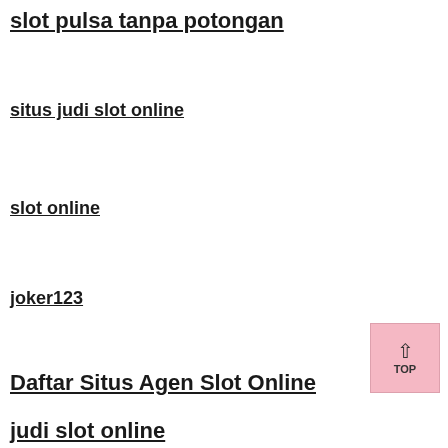slot pulsa tanpa potongan
situs judi slot online
slot online
joker123
Daftar Situs Agen Slot Online
judi slot online